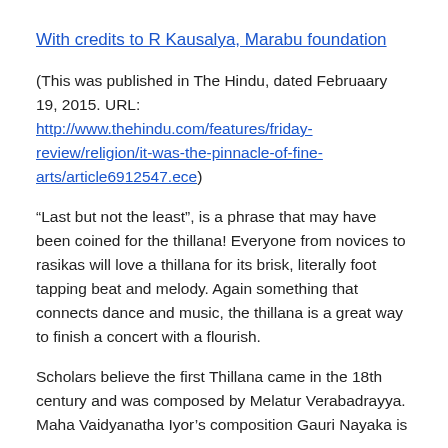With credits to R Kausalya, Marabu foundation
(This was published in The Hindu, dated Februaary 19, 2015. URL: http://www.thehindu.com/features/friday-review/religion/it-was-the-pinnacle-of-fine-arts/article6912547.ece)
“Last but not the least”, is a phrase that may have been coined for the thillana! Everyone from novices to rasikas will love a thillana for its brisk, literally foot tapping beat and melody. Again something that connects dance and music, the thillana is a great way to finish a concert with a flourish.
Scholars believe the first Thillana came in the 18th century and was composed by Melatur Verabadrayya. Maha Vaidyanatha Iyor’s composition Gauri Nayaka is